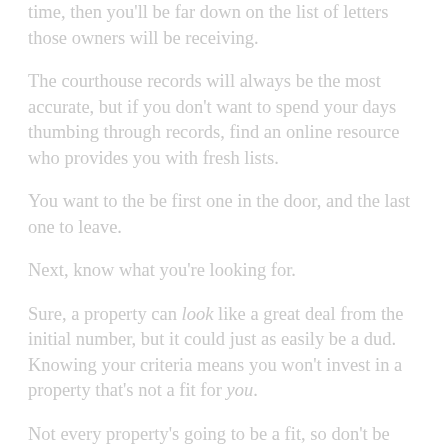time, then you'll be far down on the list of letters those owners will be receiving.
The courthouse records will always be the most accurate, but if you don't want to spend your days thumbing through records, find an online resource who provides you with fresh lists.
You want to the be first one in the door, and the last one to leave.
Next, know what you're looking for.
Sure, a property can look like a great deal from the initial number, but it could just as easily be a dud. Knowing your criteria means you won't invest in a property that's not a fit for you.
Not every property's going to be a fit, so don't be blinded by what looks like a screaming deal, when, in fact, it's not a deal for you.